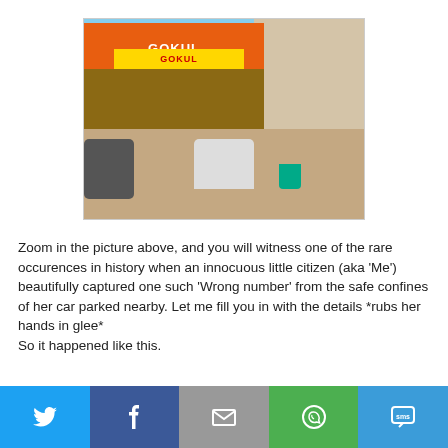[Figure (photo): Street scene outside a shop called GOKUL with orange banner signage. A person is crouching near a scooter on the ground, a green bucket is nearby, a motorbike is parked on the left, trees and another building visible in background.]
Zoom in the picture above, and you will witness one of the rare occurences in history when an innocuous little citizen (aka 'Me') beautifully captured one such 'Wrong number' from the safe confines of her car parked nearby. Let me fill you in with the details *rubs her hands in glee*
So it happened like this.